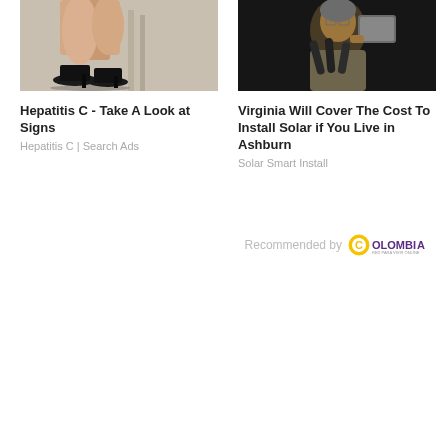[Figure (photo): Photo of legs and black high heels next to a chair]
Hepatitis C - Take A Look at Signs
Hepatitis C | Search Ads
[Figure (photo): Photo of a woman speaking at microphones with a tablet]
Virginia Will Cover The Cost To Install Solar if You Live in Ashburn
Solar Smart Install
Recommended by Colombia